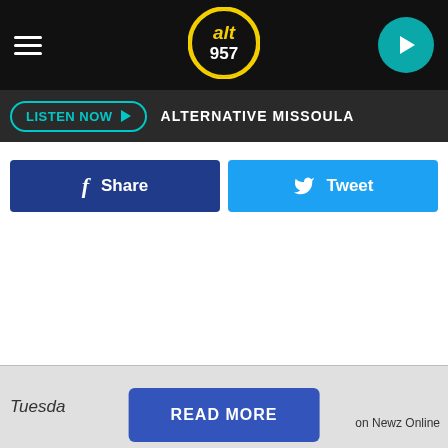[Figure (logo): ALT 95.7 radio station logo — circular yellow and black logo with 'alt 957' text in white/yellow]
LISTEN NOW ▶  ALTERNATIVE MISSOULA
f  Share
🐦  Tweet
Tuesda
READ MORE
on Newz Online